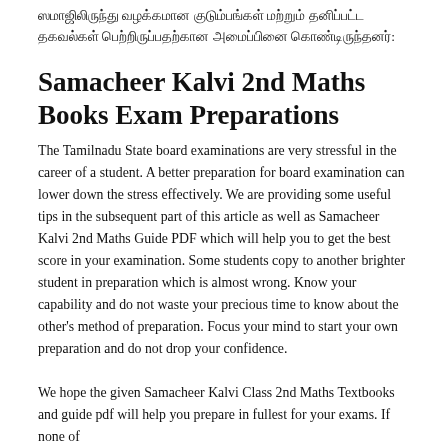ஸமாஜிலிருந்து வழக்கமான குடும்பங்கள் மற்றும் தனிப்பட்ட தகவல்கள் பெற்றிருப்பதற்கான அமைப்பினை கொண்டிருந்தனர்:
Samacheer Kalvi 2nd Maths Books Exam Preparations
The Tamilnadu State board examinations are very stressful in the career of a student. A better preparation for board examination can lower down the stress effectively. We are providing some useful tips in the subsequent part of this article as well as Samacheer Kalvi 2nd Maths Guide PDF which will help you to get the best score in your examination. Some students copy to another brighter student in preparation which is almost wrong. Know your capability and do not waste your precious time to know about the other's method of preparation. Focus your mind to start your own preparation and do not drop your confidence.
We hope the given Samacheer Kalvi Class 2nd Maths Textbooks and guide pdf will help you prepare in fullest for your exams. If none of